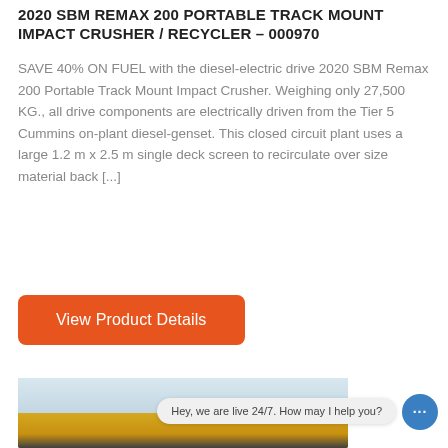2020 SBM REMAX 200 PORTABLE TRACK MOUNT IMPACT CRUSHER / RECYCLER – 000970
SAVE 40% ON FUEL with the diesel-electric drive 2020 SBM Remax 200 Portable Track Mount Impact Crusher. Weighing only 27,500 KG., all drive components are electrically driven from the Tier 5 Cummins on-plant diesel-genset. This closed circuit plant uses a large 1.2 m x 2.5 m single deck screen to recirculate over size material back [...]
View Product Details
[Figure (photo): Photo of a yellow track-mounted impact crusher/recycler machine against a cloudy sky background]
Hey, we are live 24/7. How may I help you?